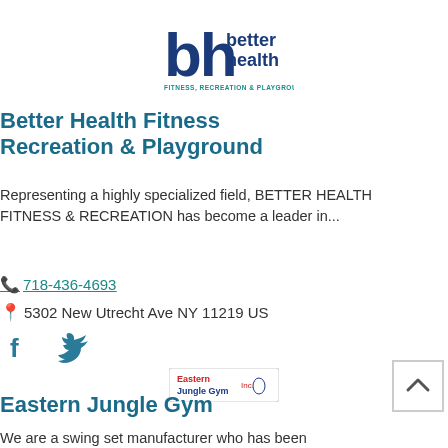[Figure (logo): Better Health Fitness, Recreation & Playground logo — stylized 'bh' letters in teal with 'better health' text in navy and tagline 'FITNESS, RECREATION & PLAYGROUND' in teal below]
Better Health Fitness Recreation & Playground
Representing a highly specialized field, BETTER HEALTH FITNESS & RECREATION has become a leader in...
☎ 718-436-4693
📍 5302 New Utrecht Ave NY 11219 US
[Figure (logo): Eastern Jungle Gym logo — small rectangular badge with red and blue text]
Eastern Jungle Gym
We are a swing set manufacturer who has been